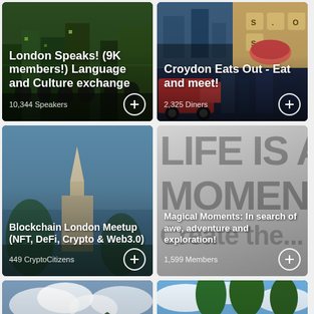[Figure (screenshot): London Speaks group card with city crowd photo, title 'London Speaks! (9K members!) Language and Culture exchange', 10,344 Speakers]
[Figure (screenshot): Croydon Eats Out card with food/restaurant collage photo, title 'Croydon Eats Out - Eat and meet!', 2,325 Diners]
[Figure (screenshot): Blockchain London Meetup card with city/temple photo, title 'Blockchain London Meetup (NFT, DeFi, Crypto & Web3.0)', 449 CryptoCitizens]
[Figure (screenshot): Magical Moments group card with typographic background, text overlay 'Magical Moments: In search of awe, adventure and exploration!', 1,599 Members]
[Figure (screenshot): Breathwork group card with cloudy mountain landscape photo, title 'Breathwork,']
[Figure (screenshot): Group of people outdoors in a park, card partially visible at bottom right]